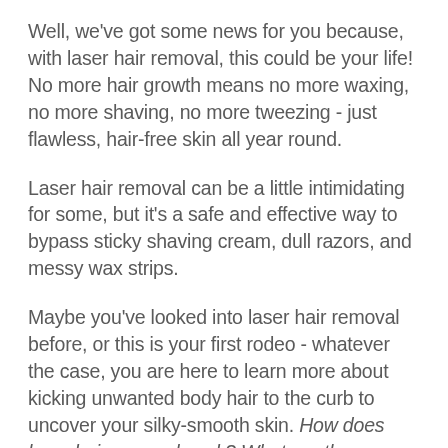Well, we've got some news for you because, with laser hair removal, this could be your life! No more hair growth means no more waxing, no more shaving, no more tweezing - just flawless, hair-free skin all year round.
Laser hair removal can be a little intimidating for some, but it's a safe and effective way to bypass sticky shaving cream, dull razors, and messy wax strips.
Maybe you've looked into laser hair removal before, or this is your first rodeo - whatever the case, you are here to learn more about kicking unwanted body hair to the curb to uncover your silky-smooth skin. How does laser hair removal work? What are the benefits? What happens if you don't shave before